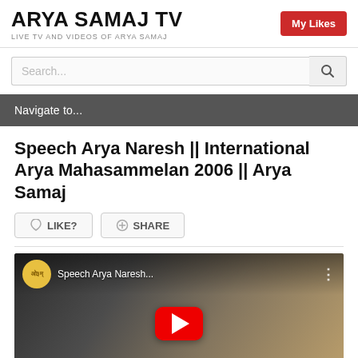ARYA SAMAJ TV — LIVE TV AND VIDEOS OF ARYA SAMAJ
My Likes
Search...
Navigate to...
Speech Arya Naresh || International Arya Mahasammelan 2006 || Arya Samaj
LIKE?
SHARE
[Figure (screenshot): YouTube video embed thumbnail showing a speaker at a podium with the video title 'Speech Arya Naresh...' and a red YouTube play button overlay. Channel icon shows a yellow circle with Hindi text.]